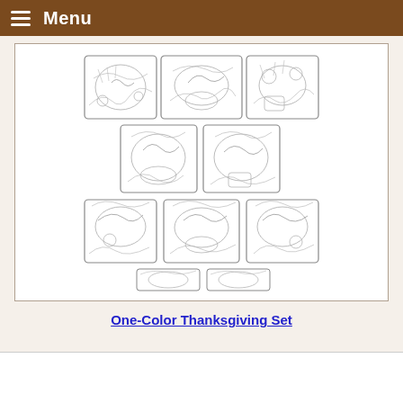Menu
[Figure (illustration): A grid of Thanksgiving-themed embroidery designs in one-color outline style, showing turkeys, cornucopias, pilgrims, pumpkins, baskets, and autumn harvest scenes arranged in multiple rows.]
One-Color Thanksgiving Set